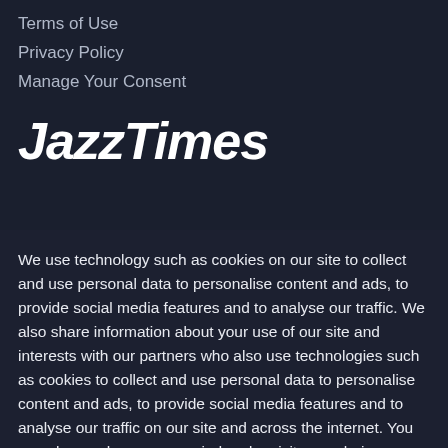Terms of Use
Privacy Policy
Manage Your Consent
[Figure (logo): JazzTimes logo in white bold italic text]
We use technology such as cookies on our site to collect and use personal data to personalise content and ads, to provide social media features and to analyse our traffic. We also share information about your use of our site and interests with our partners who also use technologies such as cookies to collect and use personal data to personalise content and ads, to provide social media features and to analyse our traffic on our site and across the internet. You can always change your mind and revisit your choices.